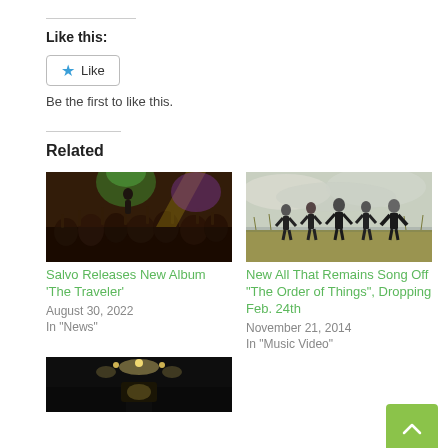Like this:
Like
Be the first to like this.
Related
[Figure (photo): Concert photo with crowd and green/purple stage lighting, performer on stage]
Salvo Releases New Album ‘The Traveler’
August 30, 2022
In "News"
[Figure (photo): Band photo with five members standing in a field wearing black clothing]
New All That Remains Song Off “The Order of Things”, Dropping Feb. 24th
November 21, 2014
In "Music Video"
[Figure (photo): Dark interior photo, possibly a vehicle interior with lights visible]